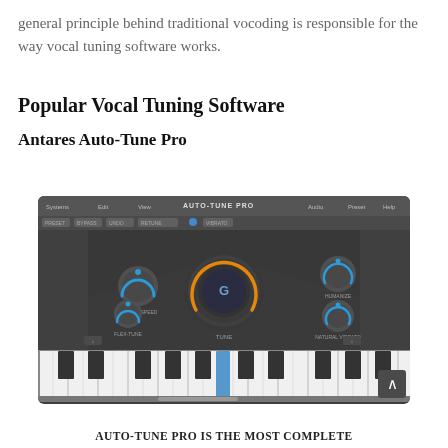general principle behind traditional vocoding is responsible for the way vocal tuning software works.
Popular Vocal Tuning Software
Antares Auto-Tune Pro
[Figure (screenshot): Screenshot of the Antares Auto-Tune Pro plugin interface showing a dark UI with knobs, a central large pitch knob with a 'G' label, smaller knobs on left and right, and a piano keyboard at the bottom.]
AUTO-TUNE PRO IS THE MOST COMPLETE